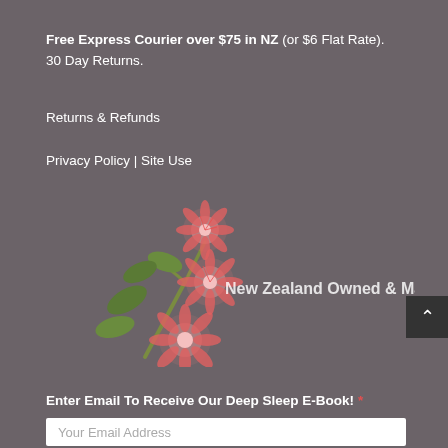Free Express Courier over $75 in NZ (or $6 Flat Rate). 30 Day Returns.
Returns & Refunds
Privacy Policy | Site Use
[Figure (illustration): Pohutukawa flower illustration — pink red flowers with green leaves, representing New Zealand flora, with text 'New Zealand Owned & Managed' overlaid]
Enter Email To Receive Our Deep Sleep E-Book! *
Your Email Address